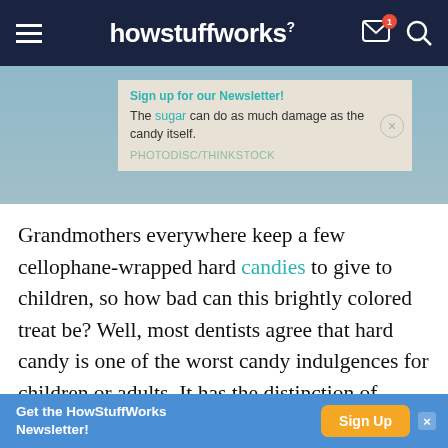howstuffworks
[Figure (screenshot): HowStuffWorks website header with hamburger menu, logo, mail icon with badge '1', and search icon on dark navy background]
Sign up for our Newsletter! The sugar can do as much damage as the candy itself. PHOTODISC/THINKSTOCK
Grandmothers everywhere keep a few cellophane-wrapped hard candies to give to children, so how bad can this brightly colored treat be? Well, most dentists agree that hard candy is one of the worst candy indulgences for children or adults. It has the distinction of being bad for you whether you eat it slowly or get impatient and bite down hard. A slow
Get the HowStuffWorks Newsletter! Sign Up